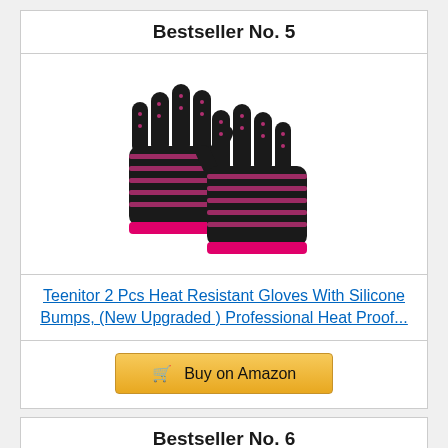Bestseller No. 5
[Figure (photo): Two black heat-resistant gloves with pink silicone bumps/dots pattern and pink trim at the wrist, crossed over each other on white background]
Teenitor 2 Pcs Heat Resistant Gloves With Silicone Bumps, (New Upgraded ) Professional Heat Proof...
Buy on Amazon
Bestseller No. 6